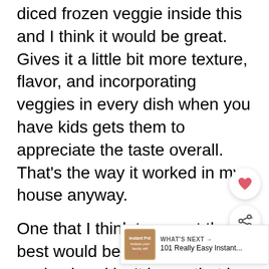diced frozen veggie inside this and I think it would be great. Gives it a little bit more texture, flavor, and incorporating veggies in every dish when you have kids gets them to appreciate the taste overall. That’s the way it worked in my house anyway.
One that I think turns out the best would be frozen peas. If my husband isn’t home that is what I use, if he is that is a big no no (childhood pea traum... not talk about it lol)
[Figure (other): Heart/favorite button overlay (circular white button with heart icon)]
[Figure (other): Share button overlay (circular white button with share icon)]
[Figure (other): What's Next banner showing '101 Really Easy Instant...' with Instant Pot recipes thumbnail]